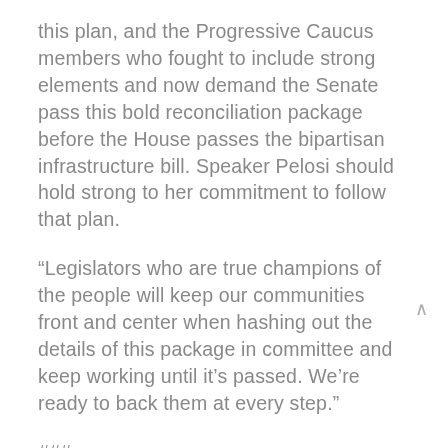this plan, and the Progressive Caucus members who fought to include strong elements and now demand the Senate pass this bold reconciliation package before the House passes the bipartisan infrastructure bill. Speaker Pelosi should hold strong to her commitment to follow that plan.
“Legislators who are true champions of the people will keep our communities front and center when hashing out the details of this package in committee and keep working until it’s passed. We’re ready to back them at every step.”
###
People’s Action is a national network